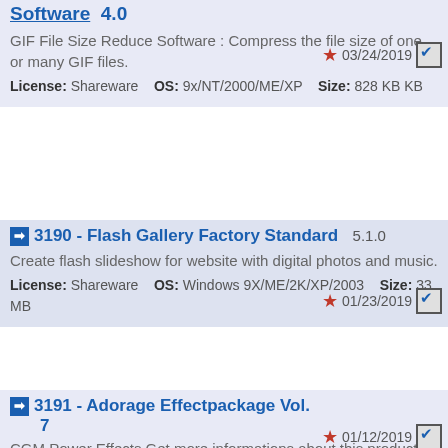Software  4.0
GIF File Size Reduce Software : Compress the file size of one or many GIF files.
License: Shareware    OS: 9x/NT/2000/ME/XP    Size: 828 KB KB
03/24/2019
3190 - Flash Gallery Factory Standard  5.1.0
Create flash slideshow for website with digital photos and music.
License: Shareware    OS: Windows 9X/ME/2K/XP/2003    Size: 33 MB
01/23/2019
3191 - Adorage Effectpackage Vol. 7
CGM Power Effects Get more informations about this product,
01/12/2019